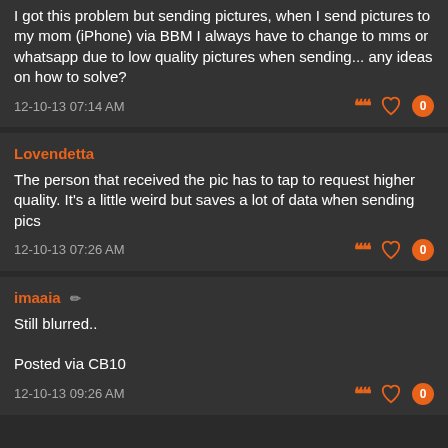I got this problem but sending pictures, when I send pictures to my mom (iPhone) via BBM I always have to change to mms or whatsapp due to low quality pictures when sending... any ideas on how to solve?
12-10-13 07:14 AM
Lovendetta
The person that received the pic has to tap to request higher quality. It's a little weird but saves a lot of data when sending pics
12-10-13 07:26 AM
imaaia
Still blurred..

Posted via CB10
12-10-13 09:26 AM